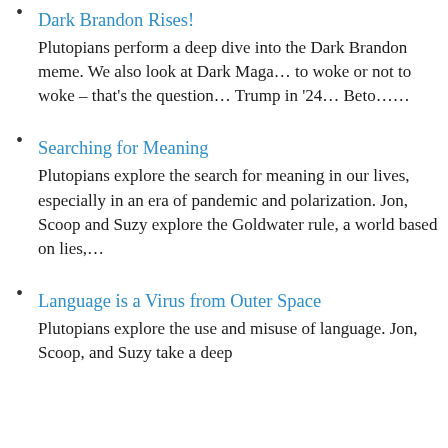Dark Brandon Rises! — Plutopians perform a deep dive into the Dark Brandon meme. We also look at Dark Maga... to woke or not to woke – that's the question... Trump in '24... Beto......
Searching for Meaning — Plutopians explore the search for meaning in our lives, especially in an era of pandemic and polarization. Jon, Scoop and Suzy explore the Goldwater rule, a world based on lies,...
Language is a Virus from Outer Space — Plutopians explore the use and misuse of language. Jon, Scoop, and Suzy take a deep